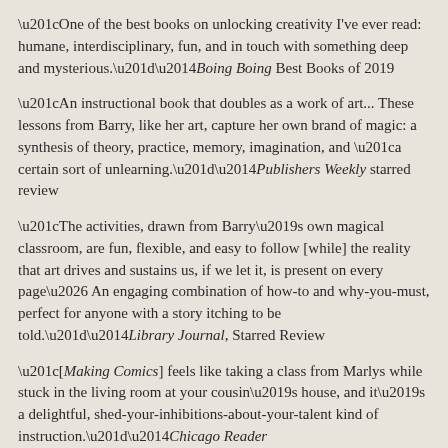“One of the best books on unlocking creativity I’ve ever read: humane, interdisciplinary, fun, and in touch with something deep and mysterious.”—Boing Boing Best Books of 2019
“An instructional book that doubles as a work of art... These lessons from Barry, like her art, capture her own brand of magic: a synthesis of theory, practice, memory, imagination, and “a certain sort of unlearning.”—Publishers Weekly starred review
“The activities, drawn from Barry’s own magical classroom, are fun, flexible, and easy to follow [while] the reality that art drives and sustains us, if we let it, is present on every page… An engaging combination of how-to and why-you-must, perfect for anyone with a story itching to be told.”—Library Journal, Starred Review
“[Making Comics] feels like taking a class from Marlys while stuck in the living room at your cousin’s house, and it’s a delightful, shed-your-inhibitions-about-your-talent kind of instruction.”—Chicago Reader
“[Making Comics is] full of drawing exercises that help you access your creativity and silence your inner critic.”—CBC Q
“Making Comics is both a tool kit of her comics-making exercises and a tender manifesto about how anyone can create.”—Lit Hub